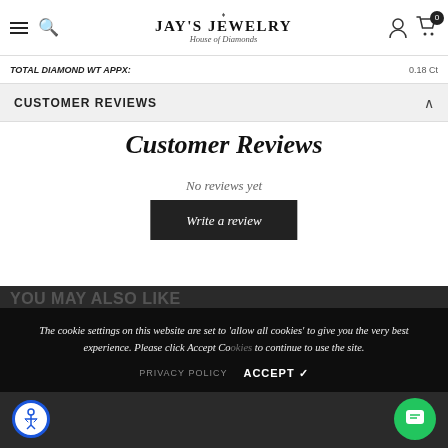JAY'S JEWELRY House of Diamonds
TOTAL DIAMOND WT APPX: 0.18 Ct
CUSTOMER REVIEWS
Customer Reviews
No reviews yet
Write a review
The cookie settings on this website are set to 'allow all cookies' to give you the very best experience. Please click Accept Cookies to continue to use the site.
PRIVACY POLICY   ACCEPT ✓